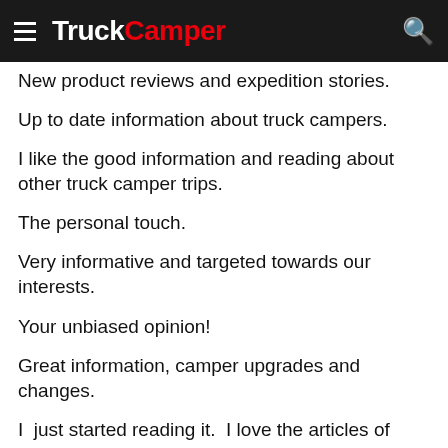TruckCamper
New product reviews and expedition stories.
Up to date information about truck campers.
I like the good information and reading about other truck camper trips.
The personal touch.
Very informative and targeted towards our interests.
Your unbiased opinion!
Great information, camper upgrades and changes.
I  just started reading it.  I love the articles of people's adventures.